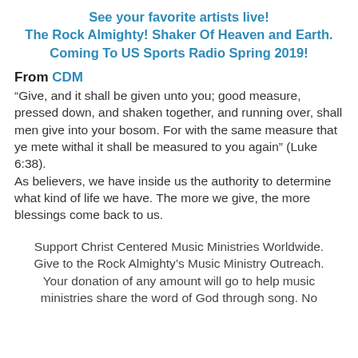See your favorite artists live! The Rock Almighty! Shaker Of Heaven and Earth. Coming To US Sports Radio Spring 2019!
From CDM
“Give, and it shall be given unto you; good measure, pressed down, and shaken together, and running over, shall men give into your bosom. For with the same measure that ye mete withal it shall be measured to you again” (Luke 6:38).
As believers, we have inside us the authority to determine what kind of life we have. The more we give, the more blessings come back to us.
Support Christ Centered Music Ministries Worldwide. Give to the Rock Almighty’s Music Ministry Outreach. Your donation of any amount will go to help music ministries share the word of God through song. No